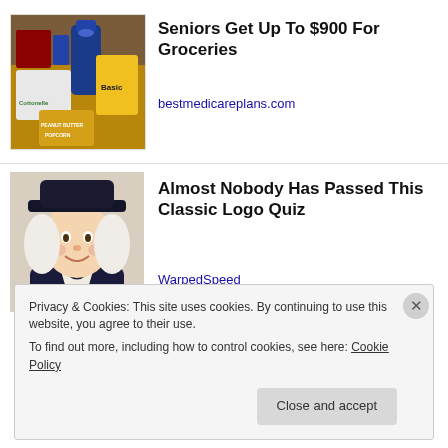[Figure (photo): Grocery items including Cottonelle, Tide, peanut butter popcorn, and other household products]
Seniors Get Up To $900 For Groceries
bestmedicareplans.com
[Figure (illustration): Quaker Oats man illustration - colonial-era man with black wide-brimmed hat and white cravat]
Almost Nobody Has Passed This Classic Logo Quiz
WarpedSpeed
Privacy & Cookies: This site uses cookies. By continuing to use this website, you agree to their use.
To find out more, including how to control cookies, see here: Cookie Policy
Close and accept